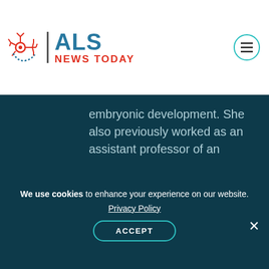ALS NEWS TODAY
embryonic development. She also previously worked as an assistant professor of an annual one-week embryology course at the University of Lisbon's Faculty of Medicine.
Tags
AAV gene therapy,  familial ALS,  Gene Therapy,
We use cookies to enhance your experience on our website. Privacy Policy ACCEPT